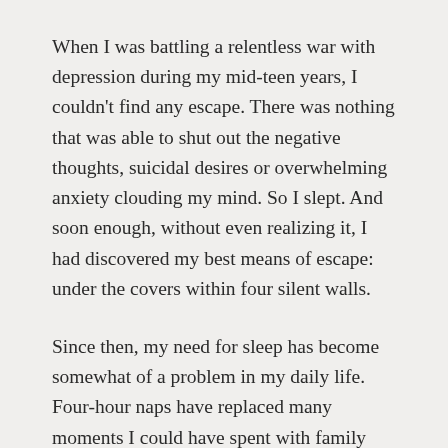When I was battling a relentless war with depression during my mid-teen years, I couldn't find any escape. There was nothing that was able to shut out the negative thoughts, suicidal desires or overwhelming anxiety clouding my mind. So I slept. And soon enough, without even realizing it, I had discovered my best means of escape: under the covers within four silent walls.
Since then, my need for sleep has become somewhat of a problem in my daily life. Four-hour naps have replaced many moments I could have spent with family and friends. Remaining unconscious until mid-day has stolen countless peaceful mornings from me. These are things I will never get back… time that cannot be